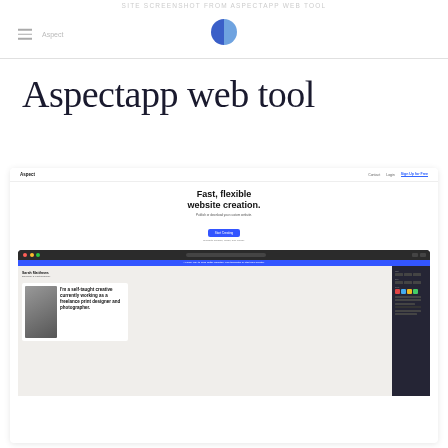Site screenshot from Aspectapp web tool
Aspectapp web tool
[Figure (screenshot): Screenshot of the Aspectapp website showing the homepage with 'Fast, flexible website creation.' hero text, a blue 'Start Creating' button, navigation bar with Contact, Login, Sign Up for Free links, and a browser window preview showing a designer portfolio website with 'I'm a self-taught creative currently working as a freelance print designer and photographer.' quote alongside a person's photo, with dark sidebar panel on the right showing design tools.]